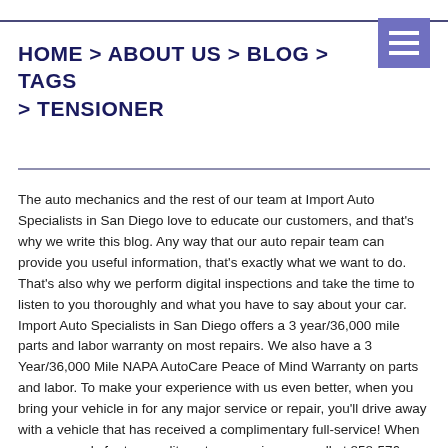HOME > ABOUT US > BLOG > TAGS > TENSIONER
The auto mechanics and the rest of our team at Import Auto Specialists in San Diego love to educate our customers, and that's why we write this blog. Any way that our auto repair team can provide you useful information, that's exactly what we want to do. That's also why we perform digital inspections and take the time to listen to you thoroughly and what you have to say about your car. Import Auto Specialists in San Diego offers a 3 year/36,000 mile parts and labor warranty on most repairs. We also have a 3 Year/36,000 Mile NAPA AutoCare Peace of Mind Warranty on parts and labor. To make your experience with us even better, when you bring your vehicle in for any major service or repair, you'll drive away with a vehicle that has received a complimentary full-service! When you are ready for top-quality auto care, give us a call at 858-576-7186, or schedule an appointment today. We hope you enjoy our blog!